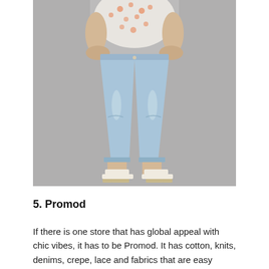[Figure (photo): A woman wearing light blue skinny jeans, a white floral top, and white sandals, standing against a grey background. The photo shows from roughly the waist down to full body.]
5. Promod
If there is one store that has global appeal with chic vibes, it has to be Promod. It has cotton, knits, denims, crepe, lace and fabrics that are easy breezy for daily